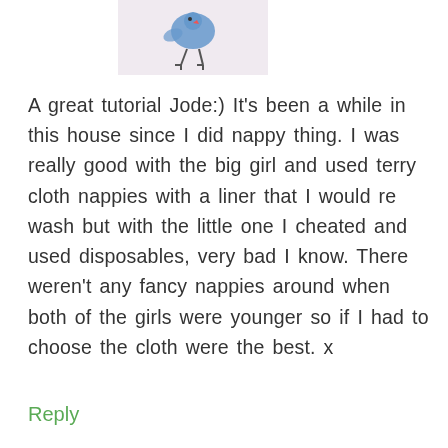[Figure (illustration): Small cartoon illustration of a character, partially visible at top of page]
A great tutorial Jode:) It's been a while in this house since I did nappy thing. I was really good with the big girl and used terry cloth nappies with a liner that I would re wash but with the little one I cheated and used disposables, very bad I know. There weren't any fancy nappies around when both of the girls were younger so if I had to choose the cloth were the best. x
Reply